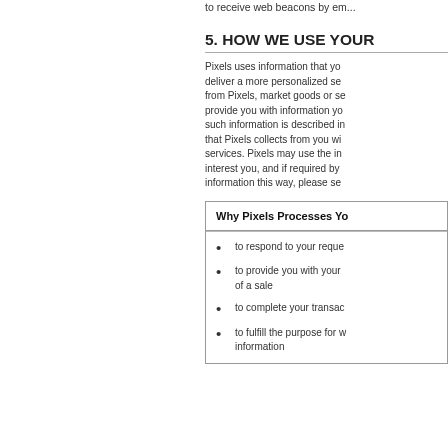to receive web beacons by em...
5. HOW WE USE YOUR
Pixels uses information that yo... deliver a more personalized se... from Pixels, market goods or se... provide you with information yo... such information is described in... that Pixels collects from you wi... services. Pixels may use the in... interest you, and if required by... information this way, please se...
| Why Pixels Processes Yo... |
| --- |
| to respond to your reque... |
| to provide you with your... of a sale |
| to complete your transac... |
| to fulfill the purpose for w... information |